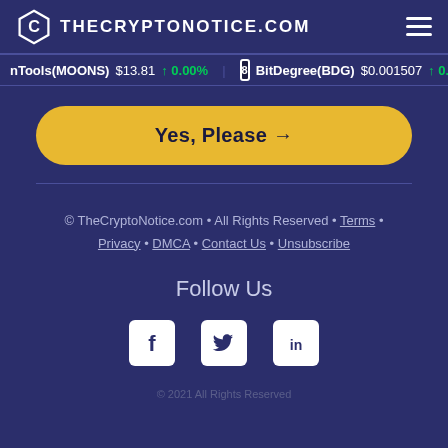THECRYPTONOTICE.COM
nTools(MOONS) $13.81 ↑ 0.00% BitDegree(BDG) $0.001507 ↑ 0.0
Yes, Please →
© TheCryptoNotice.com • All Rights Reserved • Terms • Privacy • DMCA • Contact Us • Unsubscribe
Follow Us
[Figure (illustration): Social media icons: Facebook, Twitter, LinkedIn]
© 2021 All Rights Reserved